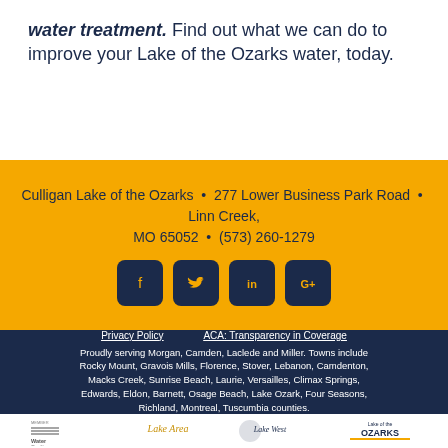water treatment. Find out what we can do to improve your Lake of the Ozarks water, today.
Culligan Lake of the Ozarks • 277 Lower Business Park Road • Linn Creek, MO 65052 • (573) 260-1279
[Figure (other): Social media icons: Facebook, Twitter, LinkedIn, Google+]
Privacy Policy    ACA: Transparency in Coverage
Proudly serving Morgan, Camden, Laclede and Miller. Towns include Rocky Mount, Gravois Mills, Florence, Stover, Lebanon, Camdenton, Macks Creek, Sunrise Beach, Laurie, Versailles, Climax Springs, Edwards, Eldon, Barnett, Osage Beach, Lake Ozark, Four Seasons, Richland, Montreal, Tuscumbia counties.
[Figure (logo): Water Quality Association member logo, Lake Area logo, Lake West logo, Lake of the Ozarks logo]